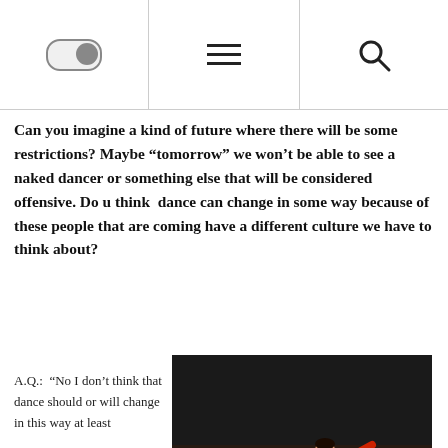[toggle] [menu] [search]
Can you imagine a kind of future where there will be some restrictions? Maybe “tomorrow” we won’t be able to see a naked dancer or something else that will be considered offensive. Do u think  dance can change in some way because of these people that are coming have a different culture we have to think about?
A.Q.:  “No I don’t think that dance should or will change in this way at least
[Figure (photo): Two dancers performing on a dark stage, one in white and one in red, with an audience watching in the background]
not in Europe or not in another country but I don’t  think politics